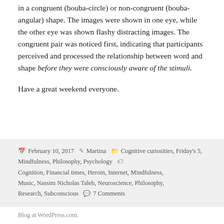in a congruent (bouba-circle) or non-congruent (bouba-angular) shape. The images were shown in one eye, while the other eye was shown flashy distracting images. The congruent pair was noticed first, indicating that participants perceived and processed the relationship between word and shape before they were consciously aware of the stimuli.
Have a great weekend everyone.
February 10, 2017 · Martina · Cognitive curiosities, Friday's 5, Mindfulness, Philosophy, Psychology · Cognition, Financial times, Heroin, Internet, Mindfulness, Music, Nassim Nicholas Taleb, Neuroscience, Philosophy, Research, Subconscious · 7 Comments
Blog at WordPress.com.